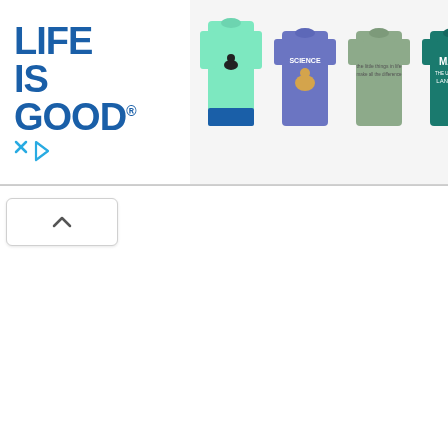[Figure (screenshot): Life Is Good brand advertisement banner showing the 'Life Is Good' logo on the left with a registered trademark symbol and two small icons below it, followed by five t-shirts on the right: a mint green long-sleeve shirt, a blue t-shirt with 'Science' text, a sage green t-shirt, a dark teal t-shirt with 'Math' text, and a mint green t-shirt.]
[Figure (screenshot): A collapse/minimize button (chevron up arrow) inside a white rounded rectangle, positioned below the ad banner.]